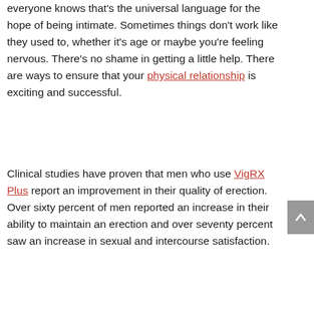everyone knows that's the universal language for the hope of being intimate. Sometimes things don't work like they used to, whether it's age or maybe you're feeling nervous. There's no shame in getting a little help. There are ways to ensure that your physical relationship is exciting and successful.
Clinical studies have proven that men who use VigRX Plus report an improvement in their quality of erection. Over sixty percent of men reported an increase in their ability to maintain an erection and over seventy percent saw an increase in sexual and intercourse satisfaction.